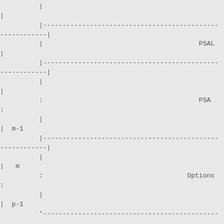[Figure (schematic): ASCII diagram showing a structured list or table-like schematic with vertical bars, dashed horizontal lines, labels PSAL, PSA, Options, and row identifiers m-1, m, p-1 indicating indexed entries in a data structure or protocol format.]